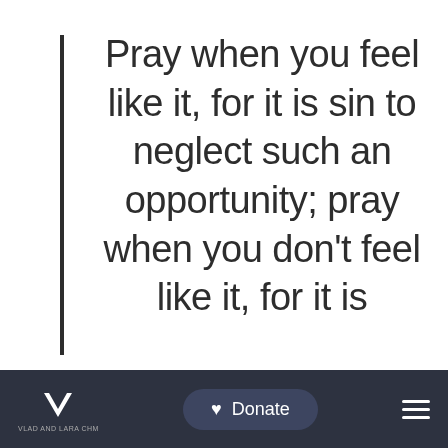Pray when you feel like it, for it is sin to neglect such an opportunity; pray when you don't feel like it, for it is...
[Figure (other): Dark navigation bar with logo (V monogram with text), a Donate button with heart icon, and a hamburger menu icon]